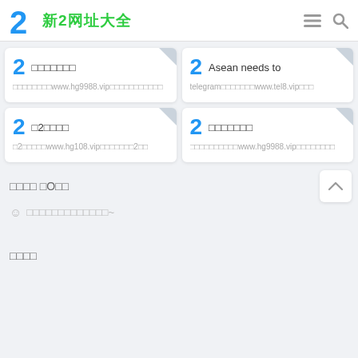2 新2网址大全
[Figure (screenshot): Card: logo '2' + title (Chinese characters) + url www.hg9988.vip]
[Figure (screenshot): Card: logo '2' + title 'Asean needs to' + url telegram...www.tel8.vip]
[Figure (screenshot): Card: logo '2' + title '□2□□□□' + url □2□□□□www.hg108.vip]
[Figure (screenshot): Card: logo '2' + title (Chinese characters) + url www.hg9988.vip]
□□□□ □O□□
☺ □□□□□□□□□□□□□~
□□□□